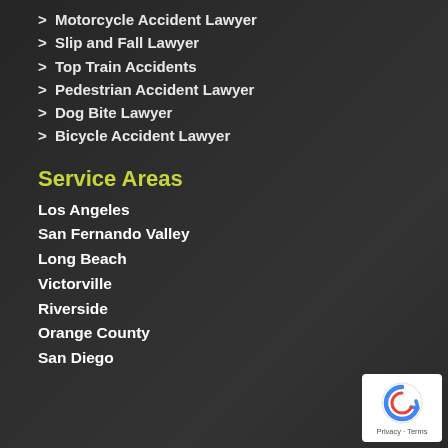> Motorcycle Accident Lawyer
> Slip and Fall Lawyer
> Top Train Accidents
> Pedestrian Accident Lawyer
> Dog Bite Lawyer
> Bicycle Accident Lawyer
Service Areas
Los Angeles
San Fernando Valley
Long Beach
Victorville
Riverside
Orange County
San Diego
[Figure (logo): Google reCAPTCHA badge with arrow icon and Privacy/Terms text]